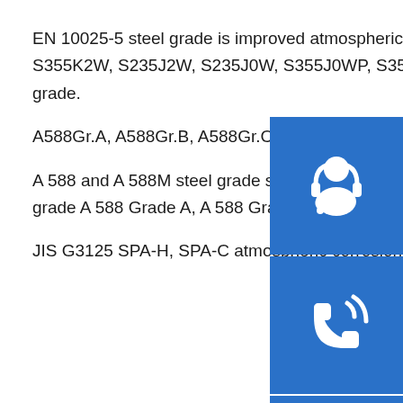EN 10025-5 steel grade is improved atmospheric corrosion resistance of structural steels in grade S355K2W, S235J2W, S235J0W, S355J0WP, S355J2WP, S355J0W and S355J2WP steel plate grade.
A588Gr.A, A588Gr.B, A588Gr.C, A588Gr.K, weather resistant steel plate
A 588 and A 588M steel grade specification are high strength low alloy structural steel in steel grade A 588 Grade A, A 588 Grade B, A 588 Grade C and A 588 Grade K steel plate grade.
JIS G3125 SPA-H, SPA-C atmospheric corrosion resistance of structural steels
[Figure (illustration): Three blue icon boxes stacked vertically on the right side: top icon shows a customer service headset with person, middle icon shows a telephone/call icon with signal waves, bottom icon shows Skype logo (S letter in circle)]